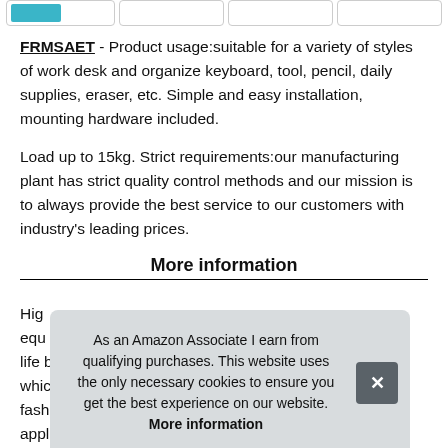[Figure (screenshot): Four product thumbnail image boxes at the top of the page, first one containing a teal/blue colored image placeholder]
FRMSAET - Product usage:suitable for a variety of styles of work desk and organize keyboard, tool, pencil, daily supplies, eraser, etc. Simple and easy installation, mounting hardware included.
Load up to 15kg. Strict requirements:our manufacturing plant has strict quality control methods and our mission is to always provide the best service to our customers with industry's leading prices.
More information
High... equ... life b... whic... fashionable and simple feeling, and is suitable for applications
As an Amazon Associate I earn from qualifying purchases. This website uses the only necessary cookies to ensure you get the best experience on our website. More information